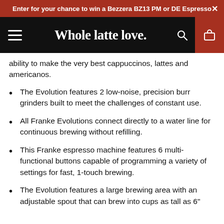Enter for your chance to win a Bezzera BZ13 PM or DE Espresso ×
Whole latte love.
ability to make the very best cappuccinos, lattes and americanos.
The Evolution features 2 low-noise, precision burr grinders built to meet the challenges of constant use.
All Franke Evolutions connect directly to a water line for continuous brewing without refilling.
This Franke espresso machine features 6 multi-functional buttons capable of programming a variety of settings for fast, 1-touch brewing.
The Evolution features a large brewing area with an adjustable spout that can brew into cups as tall as 6".